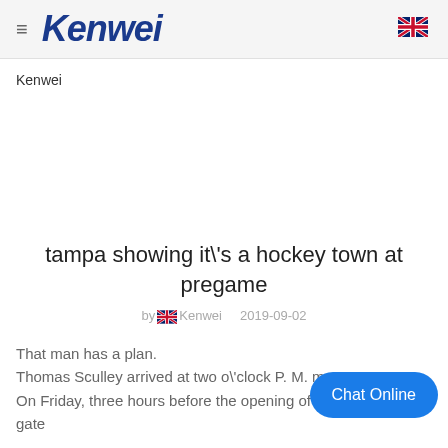≡ Kenwei [UK flag]
Kenwei
tampa showing it\'s a hockey town at pregame
by Kenwei   2019-09-02
That man has a plan.
Thomas Sculley arrived at two o\'clock P. M. m...
On Friday, three hours before the opening of the 2018 NHL gate